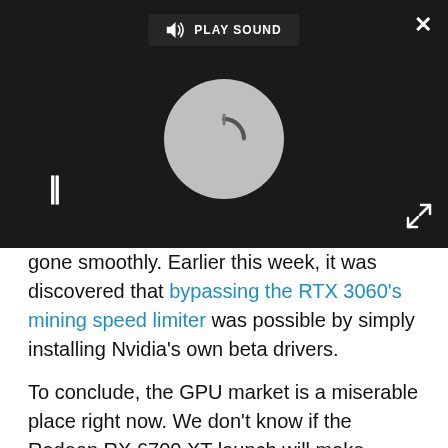[Figure (screenshot): Video player overlay with dark background, play sound button, spinner/loading circle, pause button, close X button, and expand button]
gone smoothly. Earlier this week, it was discovered that bypassing the RTX 3060's mining speed limiter was possible by simply installing Nvidia's own beta drivers.
To conclude, the GPU market is a miserable place right now. We don't know if the Radeon RX 6700 XT launch will make things any better, but if it's already getting a thorough scalping, the stock availability prospects doesn't look good.
More: I won the PS5 restock fight — here's how I